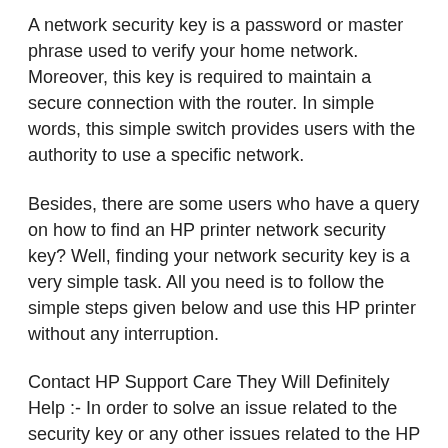A network security key is a password or master phrase used to verify your home network. Moreover, this key is required to maintain a secure connection with the router. In simple words, this simple switch provides users with the authority to use a specific network.
Besides, there are some users who have a query on how to find an HP printer network security key? Well, finding your network security key is a very simple task. All you need is to follow the simple steps given below and use this HP printer without any interruption.
Contact HP Support Care They Will Definitely Help :- In order to solve an issue related to the security key or any other issues related to the HP printer, the user can simply contact HP SUPPORT by calling the toll-free HP number or by choosing email support to get the needed assistance.